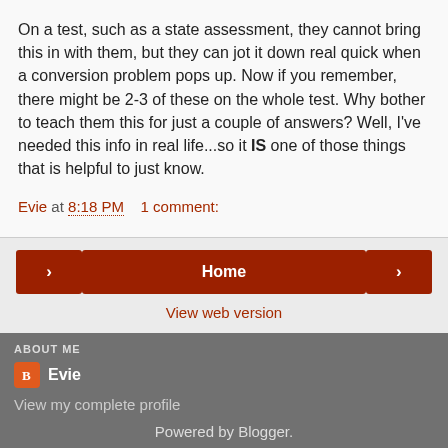On a test, such as a state assessment, they cannot bring this in with them, but they can jot it down real quick when a conversion problem pops up. Now if you remember, there might be 2-3 of these on the whole test. Why bother to teach them this for just a couple of answers? Well, I've needed this info in real life...so it IS one of those things that is helpful to just know.
Evie at 8:18 PM    1 comment:
< Home >
View web version
ABOUT ME
Evie
View my complete profile
Powered by Blogger.